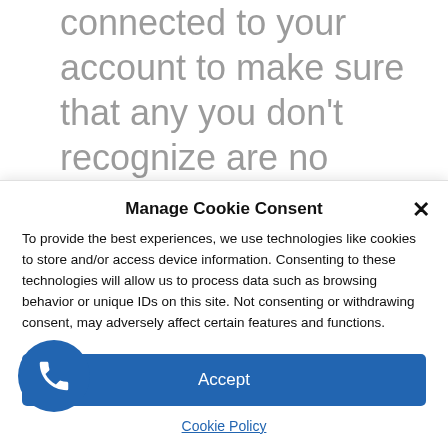connected to your account to make sure that any you don't recognize are no longer connected.
The goal of these emails is to capture your login info or infect your computer
Manage Cookie Consent
To provide the best experiences, we use technologies like cookies to store and/or access device information. Consenting to these technologies will allow us to process data such as browsing behavior or unique IDs on this site. Not consenting or withdrawing consent, may adversely affect certain features and functions.
Accept
Cookie Policy